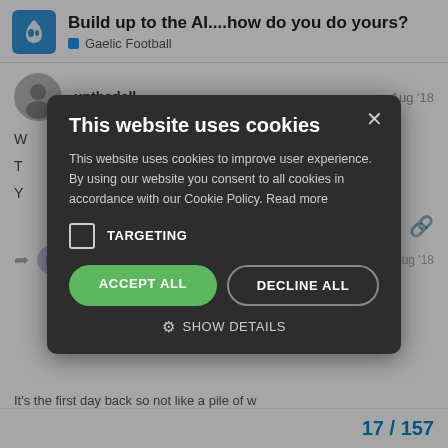Build up to the AI....how do you do yours? | Gaelic Football
upthedall  Aug '18
W...ancy place with fi...
T...
Y...anyways.
[Figure (screenshot): Cookie consent modal dialog on a dark overlay. Title: 'This website uses cookies'. Body text: 'This website uses cookies to improve user experience. By using our website you consent to all cookies in accordance with our Cookie Policy. Read more'. Checkbox labeled TARGETING (unchecked). Buttons: ACCEPT ALL (green), DECLINE ALL (outline). SHOW DETAILS link with gear icon. Close X in top right.]
It's the first day back so not like a pile of w...
17 / 157